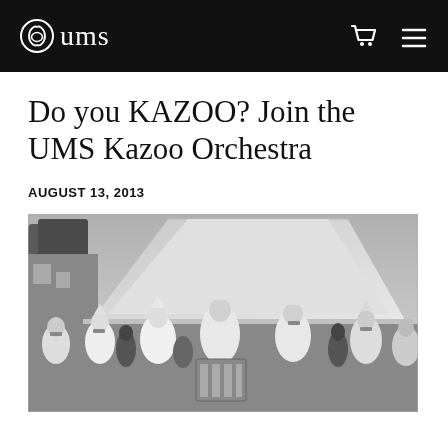ums
Do you KAZOO? Join the UMS Kazoo Orchestra
AUGUST 13, 2013
[Figure (photo): Black and white photograph of a group of people in white uniforms and pointed hats playing kazoos and an accordion outdoors in front of a large tent.]